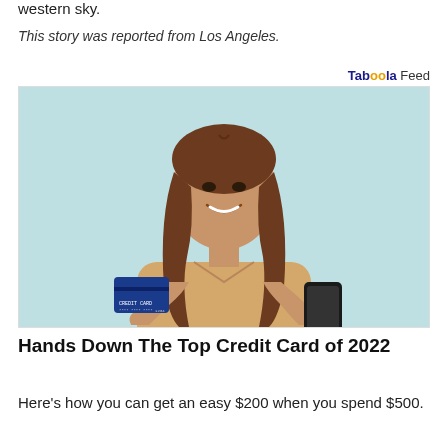western sky.
This story was reported from Los Angeles.
Taboola Feed
[Figure (photo): A smiling young woman with long brown hair, wearing a beige top, holding a blue credit card in one hand and a smartphone in the other, against a light teal background.]
Hands Down The Top Credit Card of 2022
Here's how you can get an easy $200 when you spend $500.